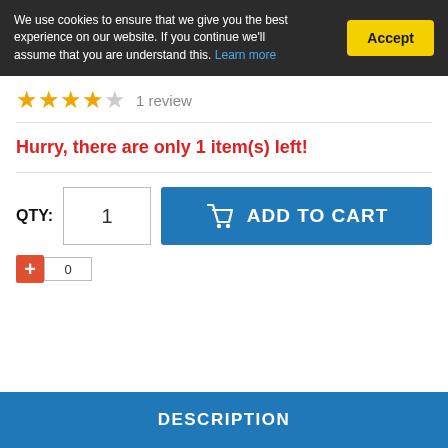We use cookies to ensure that we give you the best experience on our website. If you continue we'll assume that you are understand this. Learn more
Accept
[Figure (other): Star rating: 4 out of 5 stars, 1 review]
1 review
Hurry, there are only 1 item(s) left!
QTY: 1
ADD TO CART
0
DESCRIPTION